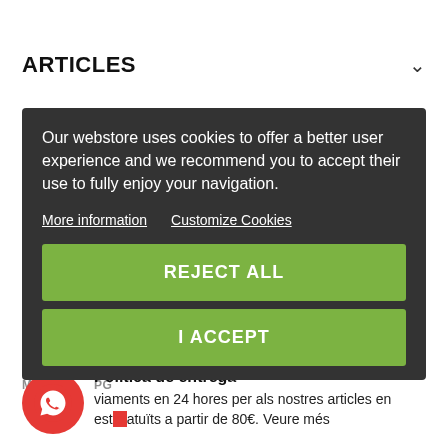ARTICLES
Our webstore uses cookies to offer a better user experience and we recommend you to accept their use to fully enjoy your navigation.
More information   Customize Cookies
REJECT ALL
I ACCEPT
Política de entrega
viaments en 24 hores per als nostres articles en estoc. Enviaments gratuïts a partir de 80€. Veure més